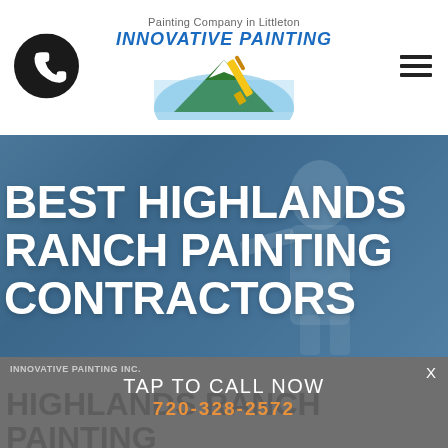Painting Company in Littleton
[Figure (logo): Innovative Painting logo with mountain and paintbrush graphic, blue italic bold text INNOVATIVE PAINTING]
[Figure (other): Phone icon circle (black) on left; hamburger menu icon on right]
BEST HIGHLANDS RANCH PAINTING CONTRACTORS
INNOVATIVE PAINTING INC.
TAP TO CALL NOW
720-328-2572
HIGHLANDS RANCH PAINTING